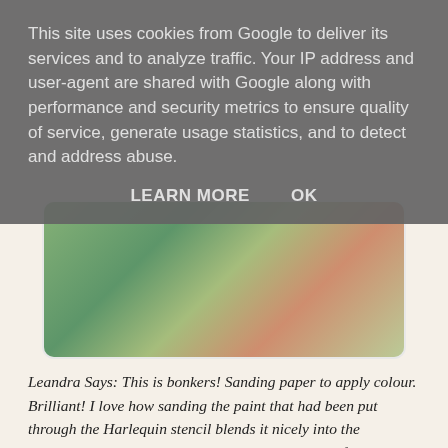This site uses cookies from Google to deliver its services and to analyze traffic. Your IP address and user-agent are shared with Google along with performance and security metrics to ensure quality of service, generate usage statistics, and to detect and address abuse.
LEARN MORE    OK
[Figure (photo): Partial view of a mixed media art project showing hands working with colorful paint and stencils on paper, with green and teal colors visible.]
Leandra Says: This is bonkers! Sanding paper to apply colour. Brilliant! I love how sanding the paint that had been put through the Harlequin stencil blends it nicely into the awesome background. And the stamps work beautifully on top after a bit of fresco snowflake under. Fabulous ideas!
Gillian Says: The colours of this project Helen are my fave .... this tutorial was completely fascinating. Who knew the endless possibilities of sandpaper. Love the addition of Zesty Zing!